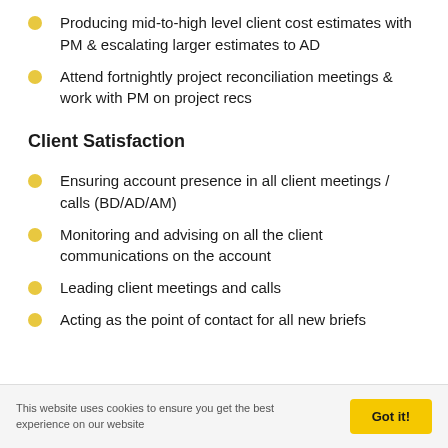Producing mid-to-high level client cost estimates with PM & escalating larger estimates to AD
Attend fortnightly project reconciliation meetings & work with PM on project recs
Client Satisfaction
Ensuring account presence in all client meetings / calls (BD/AD/AM)
Monitoring and advising on all the client communications on the account
Leading client meetings and calls
Acting as the point of contact for all new briefs
This website uses cookies to ensure you get the best experience on our website